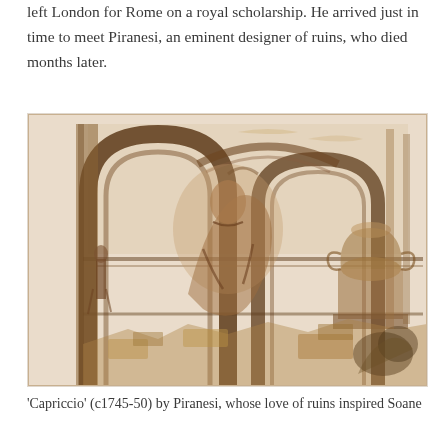left London for Rome on a royal scholarship. He arrived just in time to meet Piranesi, an eminent designer of ruins, who died months later.
[Figure (illustration): A sepia ink drawing titled 'Capriccio' (c1745-50) by Piranesi, depicting dramatic Roman architectural ruins with large arches, vaulted ceilings, statues, and ornate stonework in a brownish wash technique.]
'Capriccio' (c1745-50) by Piranesi, whose love of ruins inspired Soane